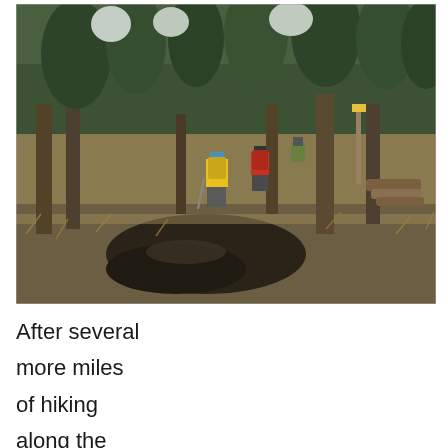[Figure (photo): Three hikers with backpacks walking away from the camera through a boreal forest trail. The foreground shows muddy, wet ground with dry golden grass and a small dark pool of water. Background has dense spruce/fir trees. One hiker in a bright yellow jacket is prominent.]
After several
more miles
of hiking
along the
trail